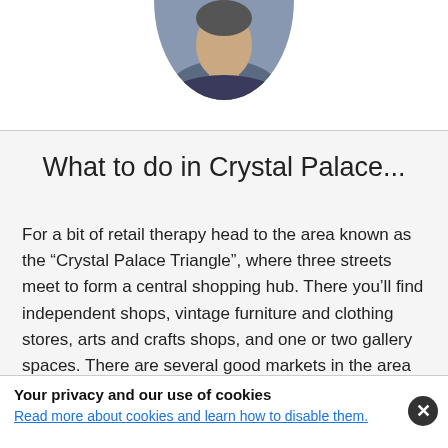[Figure (photo): Circular portrait photo of a person wearing dark clothing, cropped at top of page]
What to do in Crystal Palace...
For a bit of retail therapy head to the area known as the “Crystal Palace Triangle”, where three streets meet to form a central shopping hub. There you’ll find independent shops, vintage furniture and clothing stores, arts and crafts shops, and one or two gallery spaces. There are several good markets in the area including Alma Garden
Your privacy and our use of cookies
Read more about cookies and learn how to disable them.